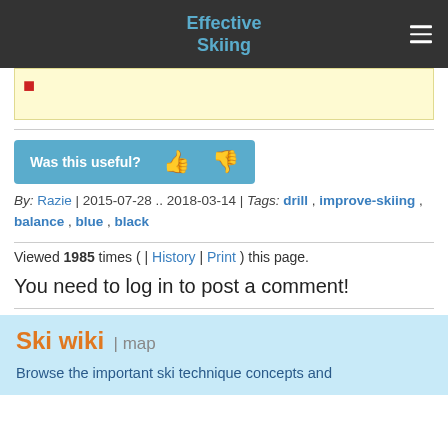Effective Skiing
[Figure (other): Yellow highlighted content box with red dot marker]
[Figure (other): Was this useful? button bar with thumbs up and thumbs down icons]
By: Razie | 2015-07-28 .. 2018-03-14 | Tags: drill , improve-skiing , balance , blue , black
Viewed 1985 times ( | History | Print ) this page.
You need to log in to post a comment!
Ski wiki | map
Browse the important ski technique concepts and